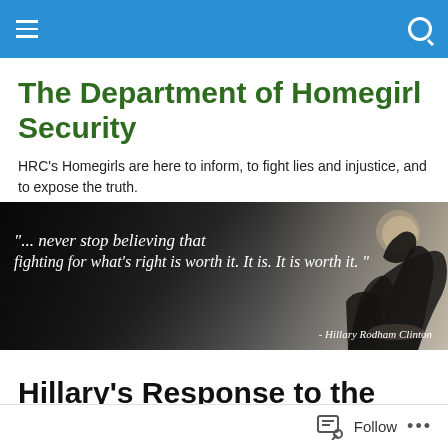The Department of Homegirl Security — navigation bar
The Department of Homegirl Security
HRC's Homegirls are here to inform, to fight lies and injustice, and to expose the truth.
[Figure (photo): Dark silhouette of a person against a bright sky with italic white text quote: '"... never stop believing that fighting for what's right is worth it. It is. It is worth it." - Hillary Rodham Clinton']
Hillary's Response to the War on Women